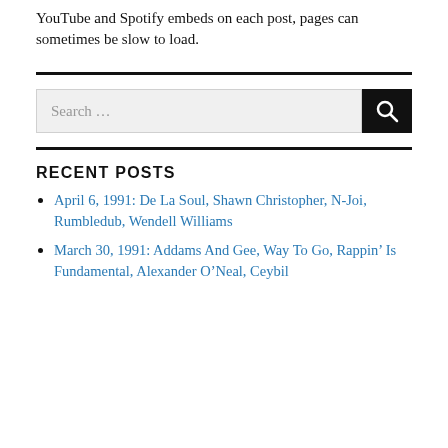YouTube and Spotify embeds on each post, pages can sometimes be slow to load.
Search …
RECENT POSTS
April 6, 1991: De La Soul, Shawn Christopher, N-Joi, Rumbledub, Wendell Williams
March 30, 1991: Addams And Gee, Way To Go, Rappin' Is Fundamental, Alexander O'Neal, Ceybil